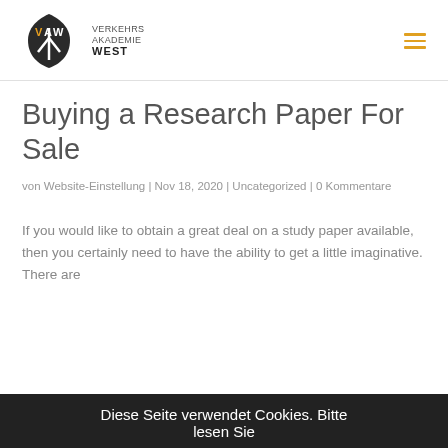[Figure (logo): VAW Verkehrs Akademie West logo with shield shape and road icon]
Buying a Research Paper For Sale
von Website-Einstellung | Nov 18, 2020 | Uncategorized | 0 Kommentare
If you would like to obtain a great deal on a study paper available, then you certainly need to have the ability to get a little imaginative. There are
Diese Seite verwendet Cookies. Bitte lesen Sie